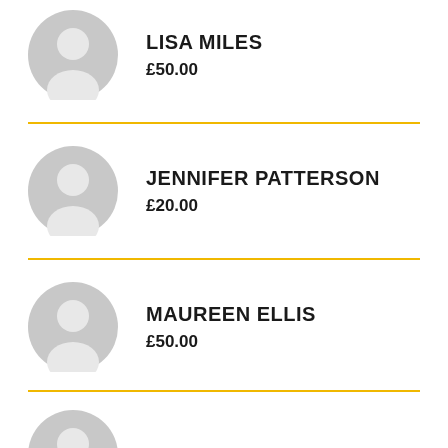Lisa Miles £50.00
Jennifer Patterson £20.00
Maureen Ellis £50.00
(partial entry at bottom)